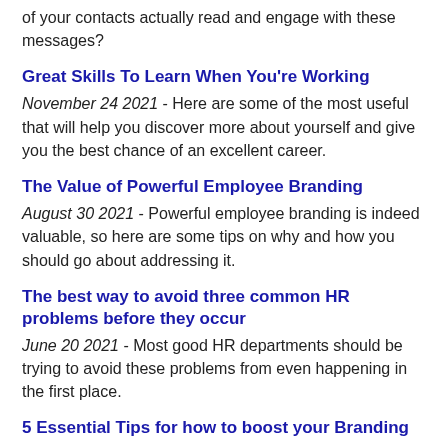of your contacts actually read and engage with these messages?
Great Skills To Learn When You're Working
November 24 2021 - Here are some of the most useful that will help you discover more about yourself and give you the best chance of an excellent career.
The Value of Powerful Employee Branding
August 30 2021 - Powerful employee branding is indeed valuable, so here are some tips on why and how you should go about addressing it.
The best way to avoid three common HR problems before they occur
June 20 2021 - Most good HR departments should be trying to avoid these problems from even happening in the first place.
5 Essential Tips for how to boost your Branding